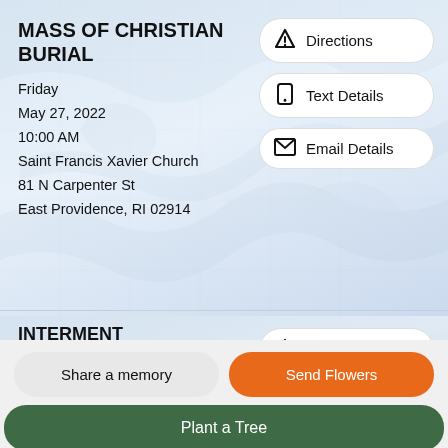MASS OF CHRISTIAN BURIAL
Friday
May 27, 2022
10:00 AM
Saint Francis Xavier Church
81 N Carpenter St
East Providence, RI 02914
Directions
Text Details
Email Details
INTERMENT
Friday
Directions
Share a memory
Send Flowers
Plant a Tree